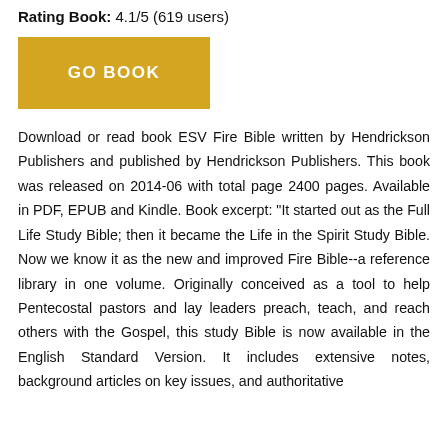Rating Book: 4.1/5 (619 users)
[Figure (other): Gold/yellow button labeled GO BOOK]
Download or read book ESV Fire Bible written by Hendrickson Publishers and published by Hendrickson Publishers. This book was released on 2014-06 with total page 2400 pages. Available in PDF, EPUB and Kindle. Book excerpt: "It started out as the Full Life Study Bible; then it became the Life in the Spirit Study Bible. Now we know it as the new and improved Fire Bible--a reference library in one volume. Originally conceived as a tool to help Pentecostal pastors and lay leaders preach, teach, and reach others with the Gospel, this study Bible is now available in the English Standard Version. It includes extensive notes, background articles on key issues, and authoritative